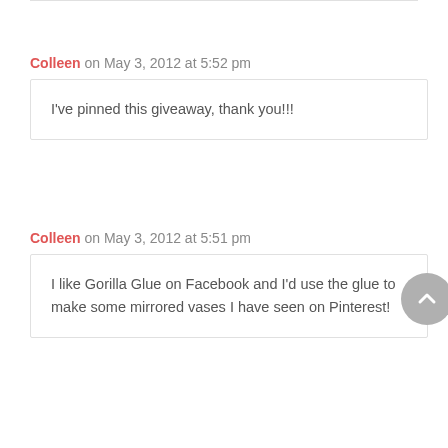Colleen on May 3, 2012 at 5:52 pm
I've pinned this giveaway, thank you!!!
Colleen on May 3, 2012 at 5:51 pm
I like Gorilla Glue on Facebook and I'd use the glue to make some mirrored vases I have seen on Pinterest!